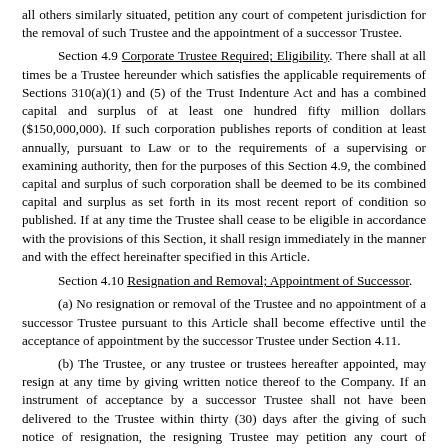all others similarly situated, petition any court of competent jurisdiction for the removal of such Trustee and the appointment of a successor Trustee.
Section 4.9 Corporate Trustee Required; Eligibility. There shall at all times be a Trustee hereunder which satisfies the applicable requirements of Sections 310(a)(1) and (5) of the Trust Indenture Act and has a combined capital and surplus of at least one hundred fifty million dollars ($150,000,000). If such corporation publishes reports of condition at least annually, pursuant to Law or to the requirements of a supervising or examining authority, then for the purposes of this Section 4.9, the combined capital and surplus of such corporation shall be deemed to be its combined capital and surplus as set forth in its most recent report of condition so published. If at any time the Trustee shall cease to be eligible in accordance with the provisions of this Section, it shall resign immediately in the manner and with the effect hereinafter specified in this Article.
Section 4.10 Resignation and Removal; Appointment of Successor.
(a) No resignation or removal of the Trustee and no appointment of a successor Trustee pursuant to this Article shall become effective until the acceptance of appointment by the successor Trustee under Section 4.11.
(b) The Trustee, or any trustee or trustees hereafter appointed, may resign at any time by giving written notice thereof to the Company. If an instrument of acceptance by a successor Trustee shall not have been delivered to the Trustee within thirty (30) days after the giving of such notice of resignation, the resigning Trustee may petition any court of competent jurisdiction for the appointment of a successor Trustee.
(c) The Trustee may be removed at any time by an act of the Majority Holders, delivered to the Trustee and to the Company.